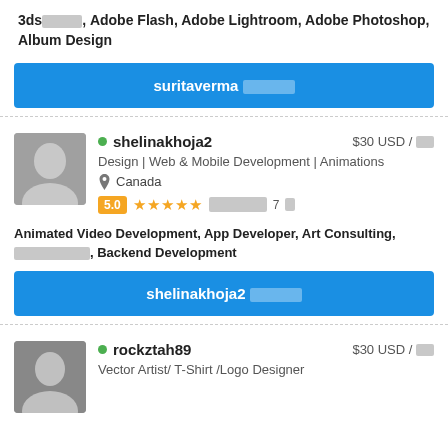3ds░░░░░, Adobe Flash, Adobe Lightroom, Adobe Photoshop, Album Design
suritaverma ░░░░░░
shelinakhoja2 — $30 USD / ░░ — Design | Web & Mobile Development | Animations — Canada — 5.0 ★★★★★ ░░░░░7░ — Animated Video Development, App Developer, Art Consulting, ░░░░░░░░░, Backend Development
shelinakhoja2 ░░░░░
rockztah89 — $30 USD / ░░ — Vector Artist/ T-Shirt /Logo Designer